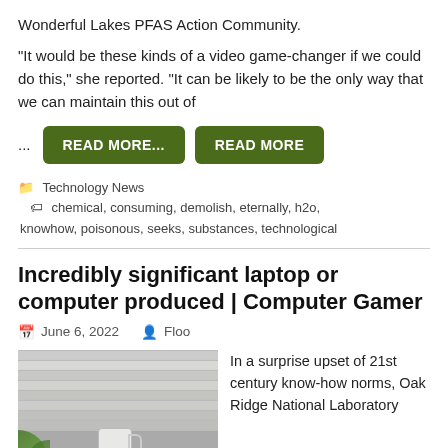Wonderful Lakes PFAS Action Community.
“It would be these kinds of a video game-changer if we could do this,” she reported. “It can be likely to be the only way that we can maintain this out of
... READ MORE... READ MORE
Technology News  chemical, consuming, demolish, eternally, h2o, knowhow, poisonous, seeks, substances, technological
Incredibly significant laptop or computer produced | Computer Gamer
June 6, 2022   Floo
[Figure (photo): Photo of window blinds with a white mug hanging, and green plant visible in bottom left corner]
In a surprise upset of 21st century know-how norms, Oak Ridge National Laboratory